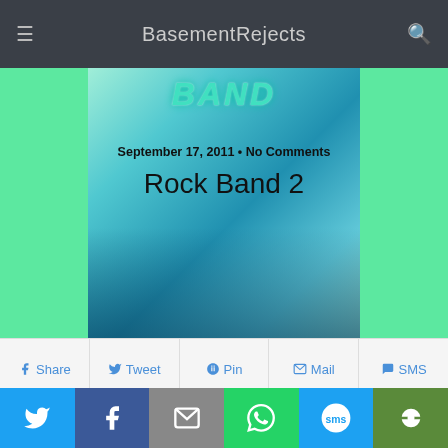BasementRejects
[Figure (screenshot): Rock Band 2 game cover art showing animated band members playing instruments with teal/cyan color scheme, with 'BAND' logo text at top]
September 17, 2011 • No Comments
Rock Band 2
Share  Tweet  Pin  Mail  SMS
[toggle title="Game Info"]
Game Name: Rock Band 2
Developer(s): Harmonix (PS3/XBox 360)/Pi Studios (Wii)